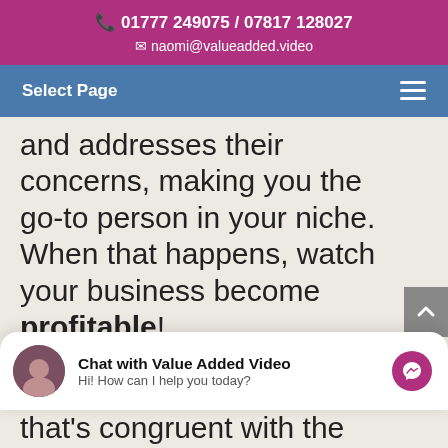📞 01777 249075 / 07817 128027
✉ naomi@valueadded.video
Select Page
and addresses their concerns, making you the go-to person in your niche. When that happens, watch your business become profitable!
Content grows your brand.
Chat with Value Added Video
Hi! How can I help you today?
that's congruent with the